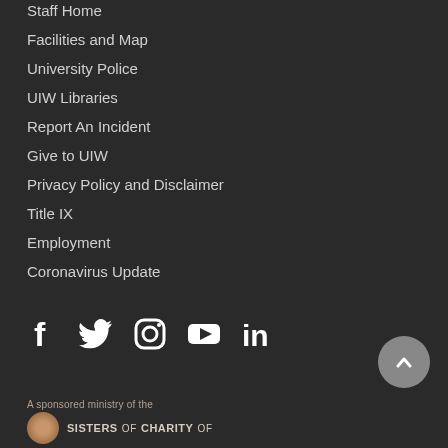Staff Home
Facilities and Map
University Police
UIW Libraries
Report An Incident
Give to UIW
Privacy Policy and Disclaimer
Title IX
Employment
Coronavirus Update
[Figure (other): Social media icons: Facebook, Twitter, Instagram, YouTube, LinkedIn]
[Figure (other): Scroll-to-top button with upward chevron]
A sponsored ministry of the
SISTERS OF CHARITY OF